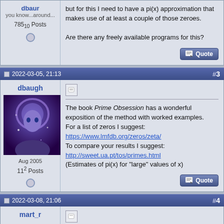you know...around... 785_10 Posts
but for this I need to have a pi(x) approximation that makes use of at least a couple of those zeroes.

Are there any freely available programs for this?
2022-03-05, 21:13  #3
dbaugh
Aug 2005
11^2 Posts
The book Prime Obsession has a wonderful exposition of the method with worked examples.
For a list of zeros I suggest:
https://www.lmfdb.org/zeros/zeta/
To compare your results I suggest:
http://sweet.ua.pt/tos/primes.html
(Estimates of pi(x) for "large" values of x)
2022-03-08, 21:06  #4
mart_r